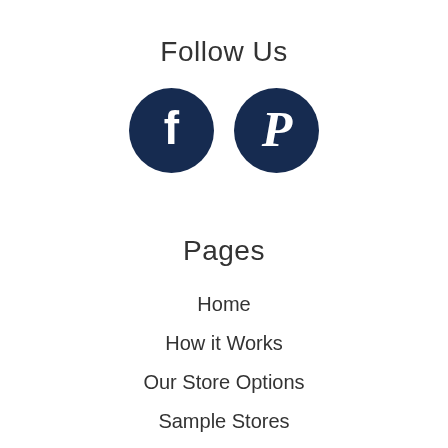Follow Us
[Figure (illustration): Facebook and Pinterest social media icons as dark navy blue circles with white logos]
Pages
Home
How it Works
Our Store Options
Sample Stores
Product Catalogue
Golf Store